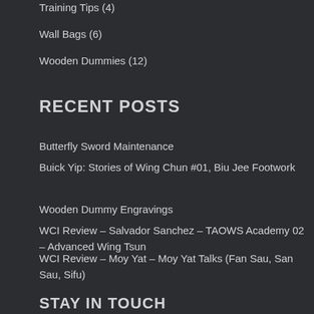Training Tips (4)
Wall Bags (6)
Wooden Dummies (12)
RECENT POSTS
Butterfly Sword Maintenance
Buick Yip: Stories of Wing Chun #01, Biu Jee Footwork
Wooden Dummy Engravings
WCI Review – Salvador Sanchez – TAOWS Academy 02 – Advanced Wing Tsun
WCI Review – Moy Yat – Moy Yat Talks (Fan Sau, San Sau, Sifu)
STAY IN TOUCH
Newsletter
Established 2003, EWC has been serving the Wing Chun community for online...